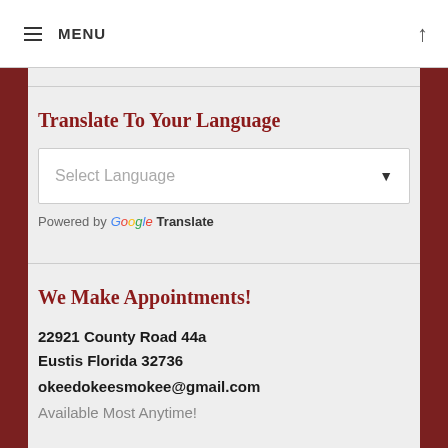MENU
Translate To Your Language
Select Language
Powered by Google Translate
We Make Appointments!
22921 County Road 44a
Eustis Florida 32736
okeedokeesmokee@gmail.com
Available Most Anytime!